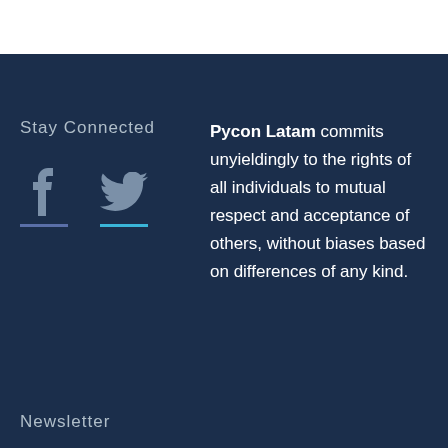Stay Connected
[Figure (illustration): Facebook and Twitter social media icons with colored underlines]
Pycon Latam commits unyieldingly to the rights of all individuals to mutual respect and acceptance of others, without biases based on differences of any kind.
Newsletter